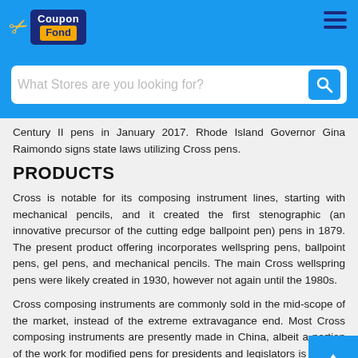CouponFond — What Stores are you looking for?
Century II pens in January 2017. Rhode Island Governor Gina Raimondo signs state laws utilizing Cross pens.
PRODUCTS
Cross is notable for its composing instrument lines, starting with mechanical pencils, and it created the first stenographic (an innovative precursor of the cutting edge ballpoint pen) pens in 1879. The present product offering incorporates wellspring pens, ballpoint pens, gel pens, and mechanical pencils. The main Cross wellspring pens were likely created in 1930, however not again until the 1980s.
Cross composing instruments are commonly sold in the mid-scope of the market, instead of the extreme extravagance end. Most Cross composing instruments are presently made in China, albeit a portion of the work for modified pens for presidents and legislators is done in New England.